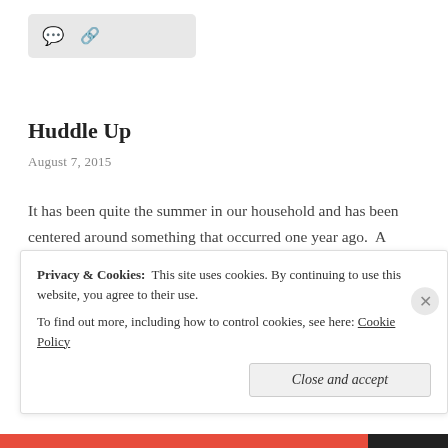[Figure (other): Grey rounded rectangle toolbar with comment bubble icon and link/share icon]
Huddle Up
August 7, 2015
It has been quite the summer in our household and has been centered around something that occurred one year ago.  A family asked if we might be willing to sell our house because it met the needs of their family nicely and to make a long story short, we believed God was leading us in … More
Privacy & Cookies:  This site uses cookies. By continuing to use this website, you agree to their use.
To find out more, including how to control cookies, see here: Cookie Policy
Close and accept